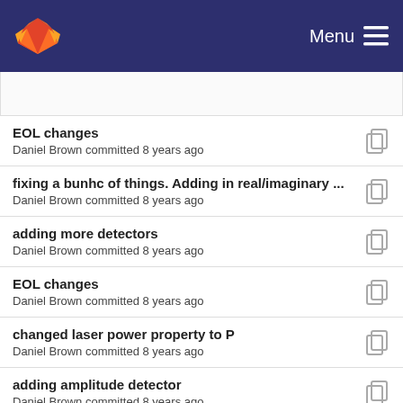GitLab — Menu
EOL changes
Daniel Brown committed 8 years ago
fixing a bunhc of things. Adding in real/imaginary ...
Daniel Brown committed 8 years ago
adding more detectors
Daniel Brown committed 8 years ago
EOL changes
Daniel Brown committed 8 years ago
changed laser power property to P
Daniel Brown committed 8 years ago
adding amplitude detector
Daniel Brown committed 8 years ago
fixing loss parsing/inputs and fixing rsub on Para...
Daniel Brown committed 8 years ago